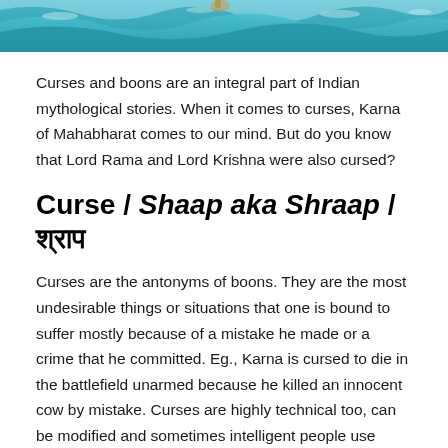[Figure (illustration): Top portion of an illustration showing waves in teal/turquoise ocean water with figures riding on them, in a painted Indian mythological art style.]
Curses and boons are an integral part of Indian mythological stories. When it comes to curses, Karna of Mahabharat comes to our mind. But do you know that Lord Rama and Lord Krishna were also cursed?
Curse / Shaap aka Shraap / श्राप
Curses are the antonyms of boons. They are the most undesirable things or situations that one is bound to suffer mostly because of a mistake he made or a crime that he committed. Eg., Karna is cursed to die in the battlefield unarmed because he killed an innocent cow by mistake. Curses are highly technical too, can be modified and sometimes intelligent people use them to their advantage. Eg.,